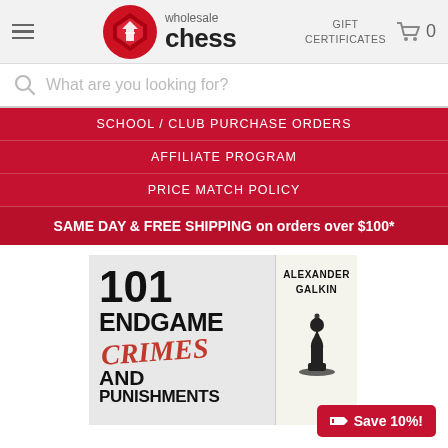wholesale chess — GIFT CERTIFICATES — cart 0
What are you looking for?
SCHOOL / CLUB PURCHASE ORDERS
AFFILIATE PROGRAM
PRICE MATCH POLICY
SAME DAY & FREE SHIPPING on orders over $100*
[Figure (photo): Book cover for '101 Endgame Crimes and Punishments' by Alexander Galkin, showing the title text with 'CRIMES' in red italic and a chess piece silhouette on the spine]
Save 10%!